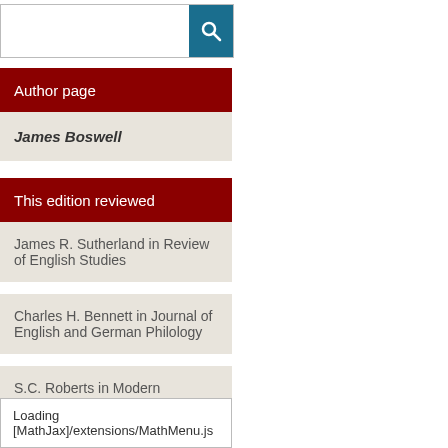Author page
James Boswell
This edition reviewed
James R. Sutherland in Review of English Studies
Charles H. Bennett in Journal of English and German Philology
S.C. Roberts in Modern Language Review
Other editions containing works
Loading [MathJax]/extensions/MathMenu.js